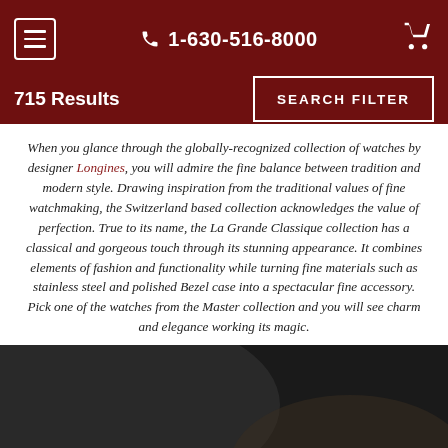☰  📞 1-630-516-8000  🛒
715 Results   SEARCH FILTER
When you glance through the globally-recognized collection of watches by designer Longines, you will admire the fine balance between tradition and modern style. Drawing inspiration from the traditional values of fine watchmaking, the Switzerland based collection acknowledges the value of perfection. True to its name, the La Grande Classique collection has a classical and gorgeous touch through its stunning appearance. It combines elements of fashion and functionality while turning fine materials such as stainless steel and polished Bezel case into a spectacular fine accessory. Pick one of the watches from the Master collection and you will see charm and elegance working its magic.
[Figure (photo): Black and white close-up photo of a luxury wristwatch on a person's wrist, with blurred background]